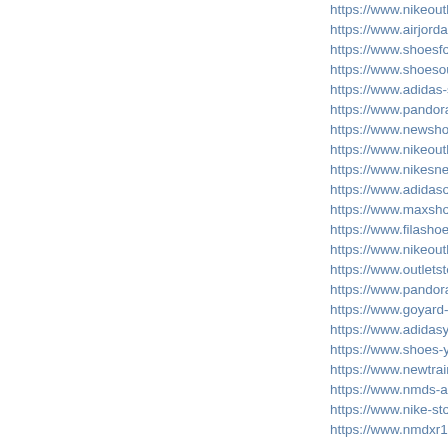https://www.nikeoutletstores.u...
https://www.airjordanshoesretr...
https://www.shoesformenwom...
https://www.shoesoutletuk.org
https://www.adidas-sneakers.u...
https://www.pandoracharmscz....
https://www.newshoes2019.us....
https://www.nikeoutletstoreonl...
https://www.nikesneakersform...
https://www.adidasoutletonline...
https://www.maxshoes.org.uk/
https://www.filashoessale.us/
https://www.nikeoutletstorecle...
https://www.outletstoreonlines...
https://www.pandorajewelry-o...
https://www.goyard-bags.us.or...
https://www.adidasyeezys-sho...
https://www.shoes-yeezy.us.co...
https://www.newtrainersuk.co....
https://www.nmds-adidas.us.or...
https://www.nike-stores.us.org
https://www.nmdxr1.us.com/